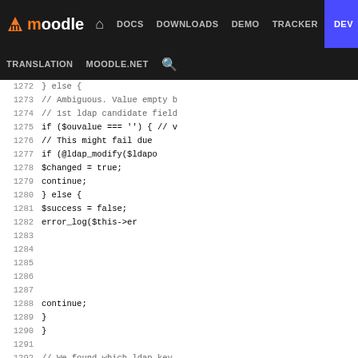Moodle | DOCS DOWNLOADS DEMO TRACKER DEV | TRANSLATION MOODLE.NET
[Figure (screenshot): Moodle developer site navigation bar with logo, nav links including DOCS, DOWNLOADS, DEMO, TRACKER, DEV (highlighted in blue), and secondary nav with TRANSLATION, MOODLE.NET, and search icon]
PHP code viewer showing lines 1272-1298 with LDAP modification logic including else blocks, ldap_modify calls, $changed = true, continue, $success = false, error_log statements, and closing braces